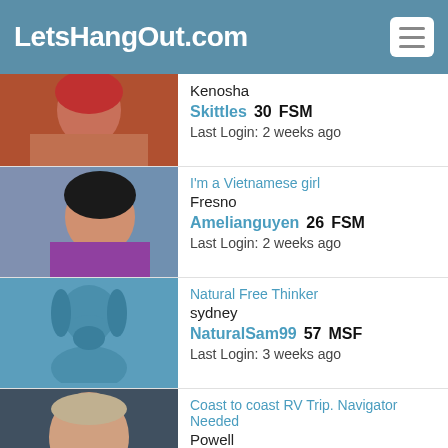LetsHangOut.com
Kenosha
Skittles  30  FSM
Last Login: 2 weeks ago
I'm a Vietnamese girl
Fresno
Amelianguyen  26  FSM
Last Login: 2 weeks ago
Natural Free Thinker
sydney
NaturalSam99  57  MSF
Last Login: 3 weeks ago
Coast to coast RV Trip. Navigator Needed
Powell
Squeaker  54  MSF
Last Login: 3 weeks ago
61 yr old college prof seeking one lover and friend bot...
swanzey